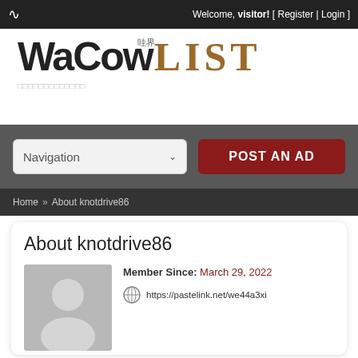Welcome, visitor! [ Register | Login ]
[Figure (logo): WaCow LIST logo with Chinese characters 哇界]
□□□□□□□□□□□□□
Navigation  POST AN AD
Home » About knotdrive86
About knotdrive86
Member Since: March 29, 2022
https://pastelink.net/we44a3xi